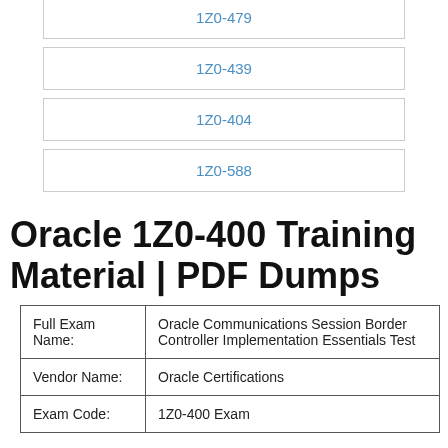1Z0-479
1Z0-439
1Z0-404
1Z0-588
Oracle 1Z0-400 Training Material | PDF Dumps
|  |  |
| --- | --- |
| Full Exam Name: | Oracle Communications Session Border Controller Implementation Essentials Test |
| Vendor Name: | Oracle Certifications |
| Exam Code: | 1Z0-400 Exam |